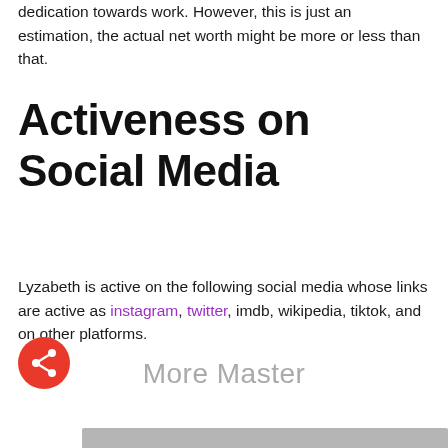dedication towards work. However, this is just an estimation, the actual net worth might be more or less than that.
Activeness on Social Media
Lyzabeth is active on the following social media whose links are active as instagram, twitter, imdb, wikipedia, tiktok, and on other platforms.
More Master
[Figure (other): Red circular share button with white share icon, and a gray bar at the bottom right]